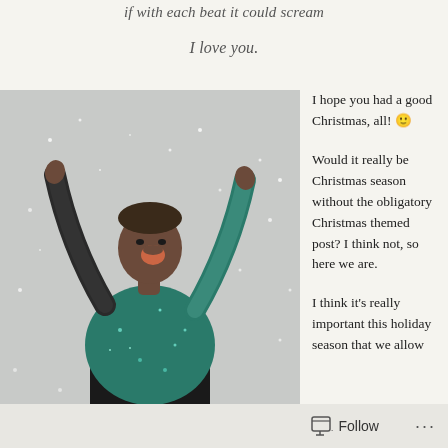if with each beat it could scream
I love you.
[Figure (photo): A joyful person wearing a teal/green sparkly outfit with arms raised, surrounded by snow or glitter, against a light grey background.]
I hope you had a good Christmas, all! 🙂
Would it really be Christmas season without the obligatory Christmas themed post? I think not, so here we are.
I think it's really important this holiday season that we allow